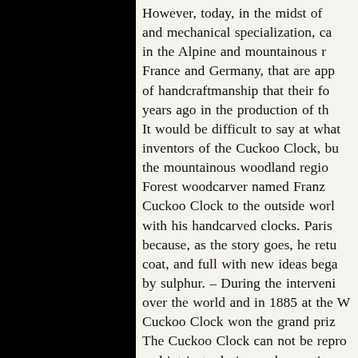However, today, in the midst of and mechanical specialization, ca in the Alpine and mountainous r France and Germany, that are app of handcraftmanship that their fo years ago in the production of th It would be difficult to say at what inventors of the Cuckoo Clock, bu the mountainous woodland regio Forest woodcarver named Franz Cuckoo Clock to the outside worl with his handcarved clocks. Paris because, as the story goes, he retu coat, and full with new ideas bega by sulphur. – During the convenin over the world and in 1885 at the Cuckoo Clock won the grand priz The Cuckoo Clock can not be repro and intricate design and operation and it is for this reason that this patterned along the lines of the c When to-day we speak of a boy reflect that the expression is deriv